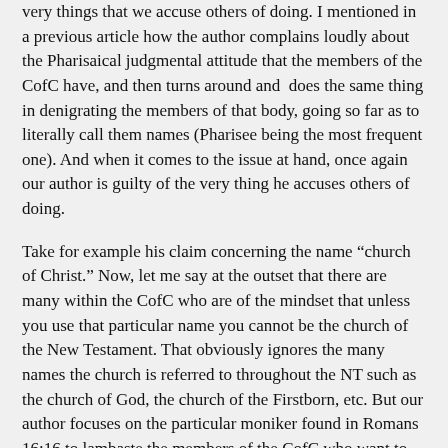very things that we accuse others of doing. I mentioned in a previous article how the author complains loudly about the Pharisaical judgmental attitude that the members of the CofC have, and then turns around and does the same thing in denigrating the members of that body, going so far as to literally call them names (Pharisee being the most frequent one). And when it comes to the issue at hand, once again our author is guilty of the very thing he accuses others of doing.
Take for example his claim concerning the name “church of Christ.” Now, let me say at the outset that there are many within the CofC who are of the mindset that unless you use that particular name you cannot be the church of the New Testament. That obviously ignores the many names the church is referred to throughout the NT such as the church of God, the church of the Firstborn, etc. But our author focuses on the particular moniker found in Romans 16:16 to lambaste the members of the CofC who want to use that name simply because it’s in the Bible. Needless to say, I cannot see why it would give someone such heartburn for other Christians to want to use a biblical name. Aside from the folks I mentioned above, no one in the CofC will tell you that unless you call your church “the church of Christ” that it cannot